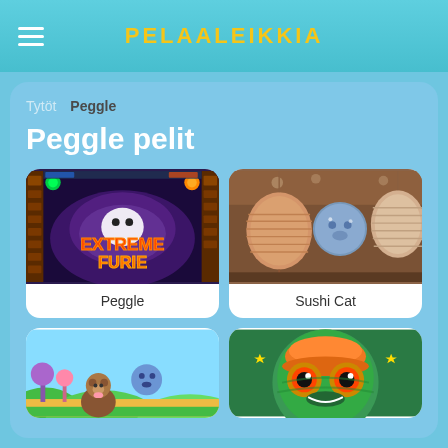PELAALEIKKIA
Tytöt  Peggle
Peggle pelit
[Figure (screenshot): Game thumbnail for Peggle - showing Extreme Furie game art with purple/blue fantasy background and fiery text]
Peggle
[Figure (screenshot): Game thumbnail for Sushi Cat - showing a warm brown scene with decorative paper lanterns and a round blue cat character]
Sushi Cat
[Figure (screenshot): Partial game thumbnail showing a cartoon scene with a brown bear character on a green and yellow landscape with blue ghost-like shapes]
[Figure (screenshot): Partial game thumbnail showing a detailed cartoon turtle/reptile character face with orange, green and yellow colors]